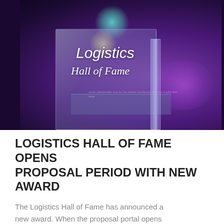[Figure (photo): A glass award trophy reading 'Logistics Hall of Fame' photographed against a dark purple bokeh background with teal and yellow bokeh circles in the upper area and purple light on the right side.]
LOGISTICS HALL OF FAME OPENS PROPOSAL PERIOD WITH NEW AWARD
The Logistics Hall of Fame has announced a new award. When the proposal portal opens on 26 February, it will for the first time be